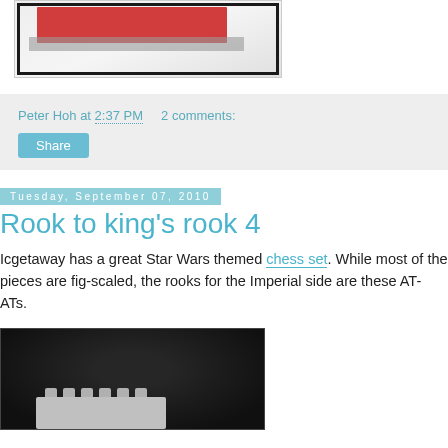[Figure (photo): Photo of a LEGO construction with red and gray elements, black border frame, on white background]
Peter Hoh at 2:37 PM    2 comments:
Share
Tuesday, September 07, 2010
Rook to king's rook 4
Icgetaway has a great Star Wars themed chess set. While most of the pieces are fig-scaled, the rooks for the Imperial side are these AT-ATs.
[Figure (photo): Photo of a LEGO AT-AT chess piece on dark black fabric background]